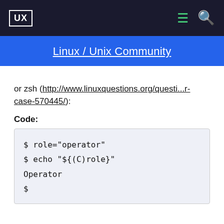UX  Linux / Unix Community
or zsh (http://www.linuxquestions.org/questi...r-case-570445/):
Code:
$ role="operator"
$ echo "${(C)role}"
Operator
$